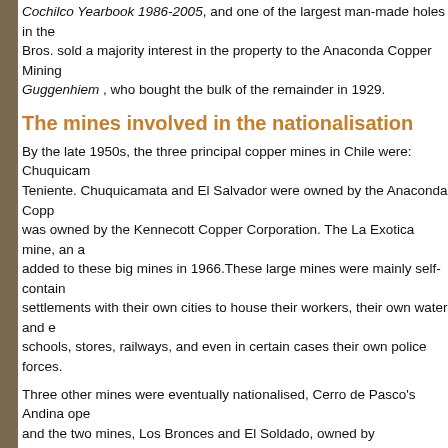Cochilco Yearbook 1986-2005, and one of the largest man-made holes in the world. Bros. sold a majority interest in the property to the Anaconda Copper Mining Guggenhiem , who bought the bulk of the remainder in 1929.
The mines involved in the nationalisation
By the late 1950s, the three principal copper mines in Chile were: Chuquicam Teniente. Chuquicamata and El Salvador were owned by the Anaconda Copp was owned by the Kennecott Copper Corporation. The La Exotica mine, an a added to these big mines in 1966.These large mines were mainly self-contain settlements with their own cities to house their workers, their own water and e schools, stores, railways, and even in certain cases their own police forces.
Three other mines were eventually nationalised, Cerro de Pasco's Andina ope and the two mines, Los Bronces and El Soldado, owned by Penarroya's Disp were bought by ENAMI. Evidently these mines did not fit in with ENAMI's pla was subsequently sold (at a substantial profit) to Exxon Minerals.
First stage of nationalization
The first indication of the growing frustration over the copper revenues was in 11.828 on May 5, 1955 (also known as the law for a new deal), under Preside That law created the Copper Office , which had the primary objective of dealin corporations that were fast becoming states-within-the-state.
During the administration of President Eduardo Frei Montalva, Congress sand 25, 1966 and transformed the Copper Office into the Copper Corporation of C objective was to increase state control over the copper industry. It also autho participate directly and invest in new and existing operations.